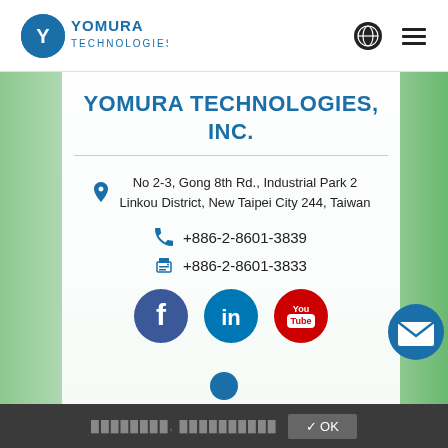Yomura Technologies (logo) — navigation header with globe icon and hamburger menu
YOMURA TECHNOLOGIES, INC.
No 2-3, Gong 8th Rd., Industrial Park 2 Linkou District, New Taipei City 244, Taiwan
+886-2-8601-3839
+886-2-8601-3833
[Figure (logo): Social media icons: Facebook, LinkedIn, YouTube, and email button]
Cookie notice bar with OK button